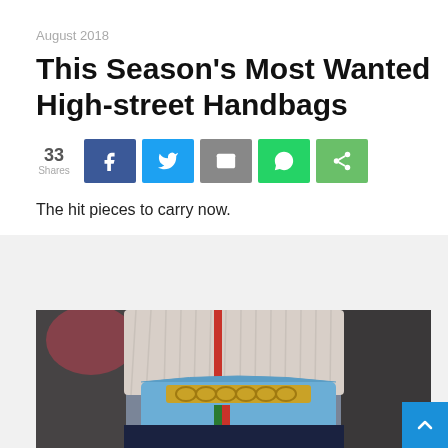August 2018
This Season's Most Wanted High-street Handbags
[Figure (infographic): Social share bar showing 33 shares with buttons for Facebook, Twitter, Email, WhatsApp, and a general share button]
The hit pieces to carry now.
[Figure (photo): Street style photo of a person holding a blue Gucci Sylvie handbag with gold chain and red/green stripe detail, wearing a white knit sweater and dark trousers]